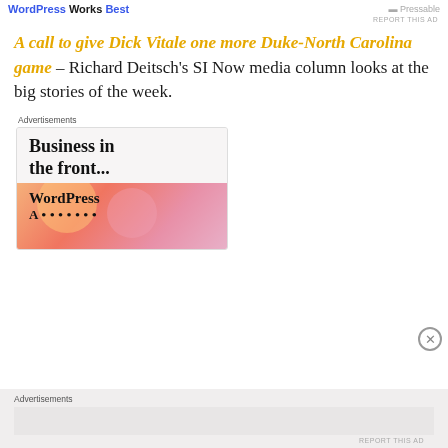WordPress Works Best
REPORT THIS AD
A call to give Dick Vitale one more Duke-North Carolina game – Richard Deitsch's SI Now media column looks at the big stories of the week.
Advertisements
[Figure (screenshot): Advertisement banner showing 'Business in the front...' text in Georgia serif font with a WordPress branded gradient banner below showing a colorful orange-pink gradient background.]
Advertisements
REPORT THIS AD